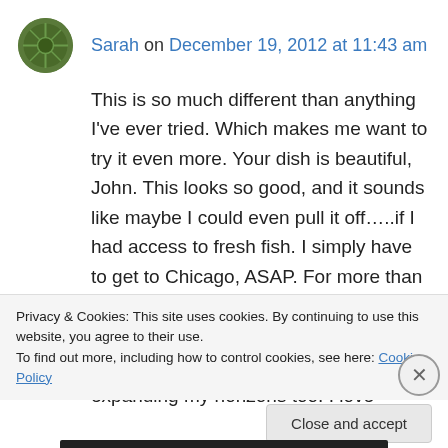Sarah on December 19, 2012 at 11:43 am
This is so much different than anything I've ever tried. Which makes me want to try it even more. Your dish is beautiful, John. This looks so good, and it sounds like maybe I could even pull it off…..if I had access to fresh fish. I simply have to get to Chicago, ASAP. For more than one reason. 🙂 I'm so glad you shared this. Not only are you teaching me to make great Italian food, but you're expanding my horizons too. I love
Privacy & Cookies: This site uses cookies. By continuing to use this website, you agree to their use.
To find out more, including how to control cookies, see here: Cookie Policy
Close and accept